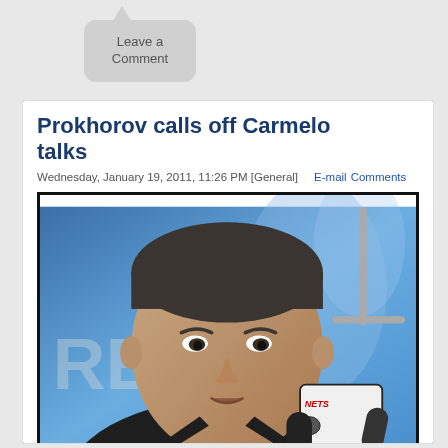[Figure (other): Speech bubble button reading 'Leave a Comment' on gray background]
Prokhorov calls off Carmelo talks
Wednesday, January 19, 2011, 11:26 PM [General]    E-mail  Comments
[Figure (photo): Photo of Mikhail Prokhorov at a press conference with a Brooklyn Nets microphone in the foreground and a blue banner in the background]